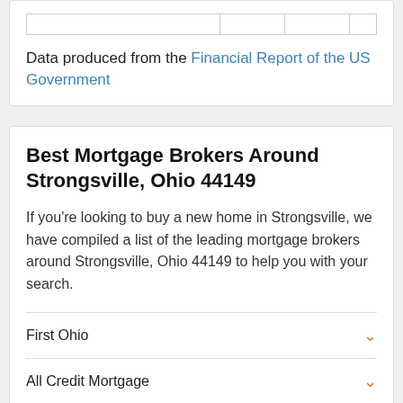Data produced from the Financial Report of the US Government
Best Mortgage Brokers Around Strongsville, Ohio 44149
If you're looking to buy a new home in Strongsville, we have compiled a list of the leading mortgage brokers around Strongsville, Ohio 44149 to help you with your search.
First Ohio
All Credit Mortgage
Capfund Lending
SEE MORE